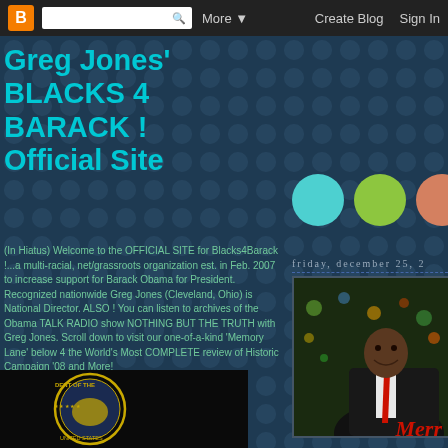[Figure (screenshot): Blogger navigation bar with orange B logo, search box, More dropdown, Create Blog and Sign In links on dark background]
Greg Jones' BLACKS 4 BARACK ! Official Site
[Figure (illustration): Three decorative circles in teal, green, and salmon/orange colors]
friday, december 25, 2
(In Hiatus) Welcome to the OFFICIAL SITE for Blacks4Barack !...a multi-racial, net/grassroots organization est. in Feb. 2007 to increase support for Barack Obama for President. Recognized nationwide Greg Jones (Cleveland, Ohio) is National Director. ALSO ! You can listen to archives of the Obama TALK RADIO show NOTHING BUT THE TRUTH with Greg Jones. Scroll down to visit our one-of-a-kind 'Memory Lane' below 4 the World's Most COMPLETE review of Historic Campaign '08 and More!
[Figure (photo): Barack Obama in dark suit and red tie, smiling, with Christmas tree lights in background]
[Figure (photo): Bottom left image showing partial Presidential seal - DENT OF THE text visible]
Merr